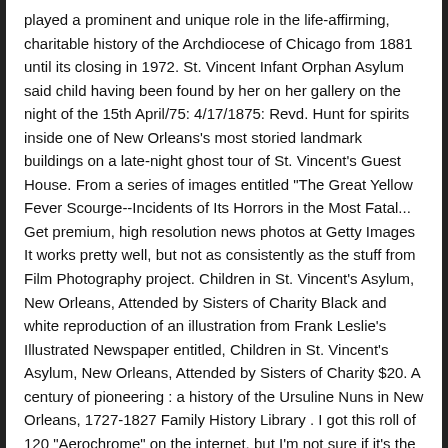played a prominent and unique role in the life-affirming, charitable history of the Archdiocese of Chicago from 1881 until its closing in 1972. St. Vincent Infant Orphan Asylum said child having been found by her on her gallery on the night of the 15th April/75: 4/17/1875: Revd. Hunt for spirits inside one of New Orleans's most storied landmark buildings on a late-night ghost tour of St. Vincent's Guest House. From a series of images entitled "The Great Yellow Fever Scourge--Incidents of Its Horrors in the Most Fatal... Get premium, high resolution news photos at Getty Images  It works pretty well, but not as consistently as the stuff from Film Photography project. Children in St. Vincent's Asylum, New Orleans, Attended by Sisters of Charity Black and white reproduction of an illustration from Frank Leslie's Illustrated Newspaper entitled, Children in St. Vincent's Asylum, New Orleans, Attended by Sisters of Charity $20. A century of pioneering : a history of the Ursuline Nuns in New Orleans, 1727-1827 Family History Library . I got this roll of 120 "Aerochrome" on the internet, but I'm not sure if it's the real deal or not. Order placing same. [See "Hospitals"]". Subscribe to our mailing list to receive updates and promotional offers. Built as an orphanage during the Yellow Fever epidemic of the 1860s and now a historic hotel, St. Vincent's is home to countless tragic tales and—some say—restless souls. 1810 Records: